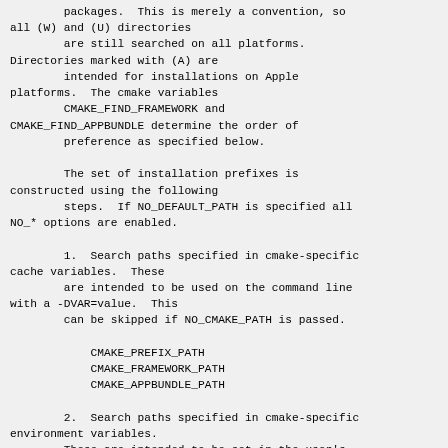packages.  This is merely a convention, so all (W) and (U) directories
        are still searched on all platforms.
Directories marked with (A) are
        intended for installations on Apple
platforms.  The cmake variables
        CMAKE_FIND_FRAMEWORK and
CMAKE_FIND_APPBUNDLE determine the order of
        preference as specified below.

        The set of installation prefixes is
constructed using the following
        steps.  If NO_DEFAULT_PATH is specified all
NO_* options are enabled.

        1.  Search paths specified in cmake-specific
cache variables.  These
        are intended to be used on the command line
with a -DVAR=value.  This
        can be skipped if NO_CMAKE_PATH is passed.

            CMAKE_PREFIX_PATH
            CMAKE_FRAMEWORK_PATH
            CMAKE_APPBUNDLE_PATH

        2.  Search paths specified in cmake-specific
environment variables.
        These are intended to be set in the user's
shell configuration.  This
        can be skipped if NO_CMAKE_ENVIRONMENT_PATH
is passed.